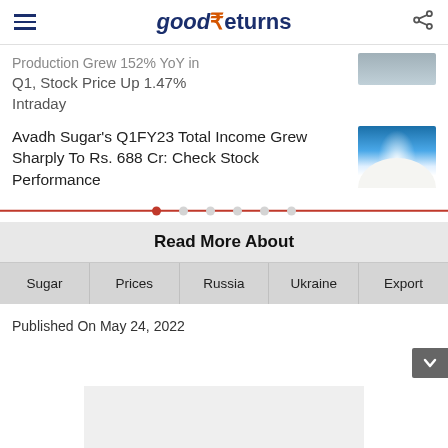goodReturns
Production Grew 152% YoY in Q1, Stock Price Up 1.47% Intraday
Avadh Sugar's Q1FY23 Total Income Grew Sharply To Rs. 688 Cr: Check Stock Performance
Read More About
Sugar
Prices
Russia
Ukraine
Export
Published On May 24, 2022